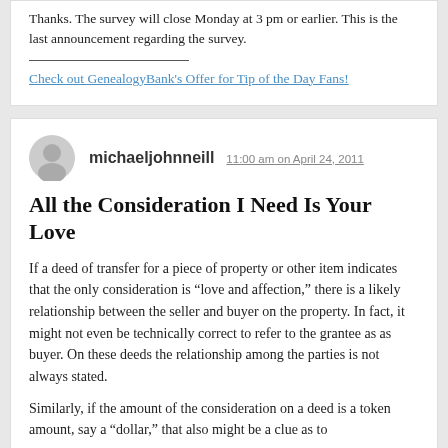Thanks. The survey will close Monday at 3 pm or earlier. This is the last announcement regarding the survey.
Check out GenealogyBank's Offer for Tip of the Day Fans!
michaeljohnneill 11:00 am on April 24, 2011
All the Consideration I Need Is Your Love
If a deed of transfer for a piece of property or other item indicates that the only consideration is “love and affection,” there is a likely relationship between the seller and buyer on the property. In fact, it might not even be technically correct to refer to the grantee as as buyer. On these deeds the relationship among the parties is not always stated.
Similarly, if the amount of the consideration on a deed is a token amount, say a “dollar,” that also might be a clue as to